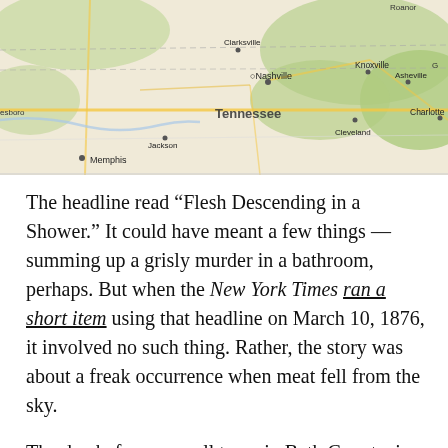[Figure (map): Road map showing Tennessee and surrounding states including Kentucky, North Carolina. Cities labeled include Memphis, Jackson, Clarksville, Nashville, Knoxville, Asheville, Charlotte, Cleveland, and others. Geographic features shown with roads and terrain coloring.]
The headline read “Flesh Descending in a Shower.” It could have meant a few things — summing up a grisly murder in a bathroom, perhaps. But when the New York Times ran a short item using that headline on March 10, 1876, it involved no such thing. Rather, the story was about a freak occurrence when meat fell from the sky.
The day before, a small town in Bath County, in the northeastern part of Kentucky, was experiencing blue skies and typical weather. Then, suddenly, over a 5,000 square yard (